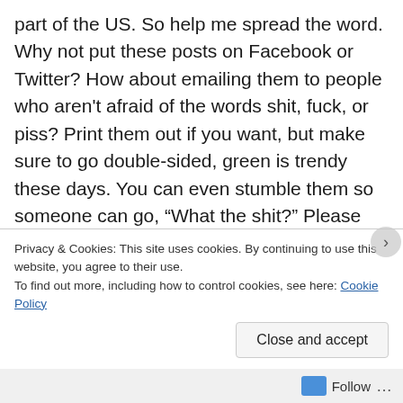part of the US. So help me spread the word. Why not put these posts on Facebook or Twitter? How about emailing them to people who aren't afraid of the words shit, fuck, or piss? Print them out if you want, but make sure to go double-sided, green is trendy these days. You can even stumble them so someone can go, “What the shit?” Please share this blog and help it grow. There are a lot of intelligent people in this world that need to join us in mocking stupid people. Sadly, these intelligent folk, such as yourself, are greatly outnumbered by stupid mother fuckers.
Most importantly, I have included a new section
Privacy & Cookies: This site uses cookies. By continuing to use this website, you agree to their use.
To find out more, including how to control cookies, see here: Cookie Policy
Close and accept
Follow